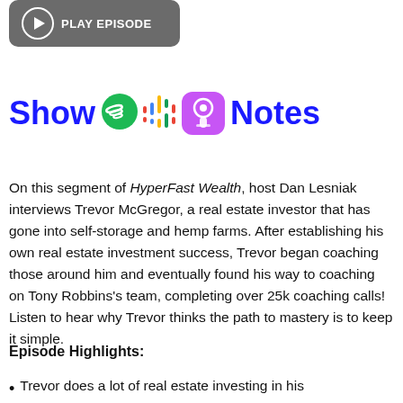[Figure (other): Play Episode button with grey rounded rectangle background, play circle icon and text PLAY EPISODE]
Show Notes
On this segment of HyperFast Wealth, host Dan Lesniak interviews Trevor McGregor, a real estate investor that has gone into self-storage and hemp farms. After establishing his own real estate investment success, Trevor began coaching those around him and eventually found his way to coaching on Tony Robbins's team, completing over 25k coaching calls! Listen to hear why Trevor thinks the path to mastery is to keep it simple.
Episode Highlights:
Trevor does a lot of real estate investing in his